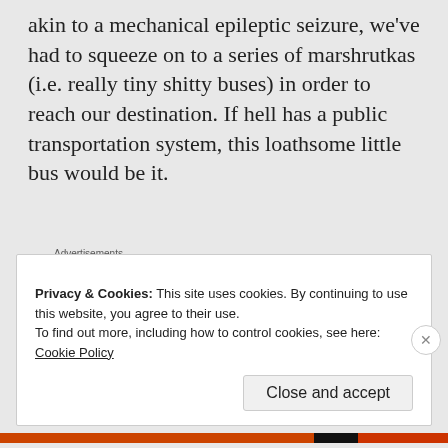akin to a mechanical epileptic seizure, we've had to squeeze on to a series of marshrutkas (i.e. really tiny shitty buses) in order to reach our destination. If hell has a public transportation system, this loathsome little bus would be it.
[Figure (screenshot): Advertisement banner for Day One journaling app with blue gradient background showing app icons and tagline 'The only journaling app you'll ever need.']
Due partly to the heat and partly to being
Privacy & Cookies: This site uses cookies. By continuing to use this website, you agree to their use.
To find out more, including how to control cookies, see here:
Cookie Policy

Close and accept